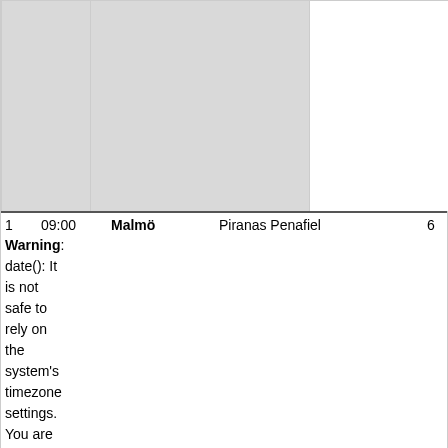[Figure (other): Two gray shaded table cells in the top portion of the page, part of a table layout]
| 1 | 09:00 | Malmö |  | Piranas Penafiel | 6 |
| --- | --- | --- | --- | --- | --- |
Warning: date(): It is not safe to rely on the system's timezone settings. You are *required* to use the date.timezone setting or the date_default_timezone_set() function. In case you used any of those methods